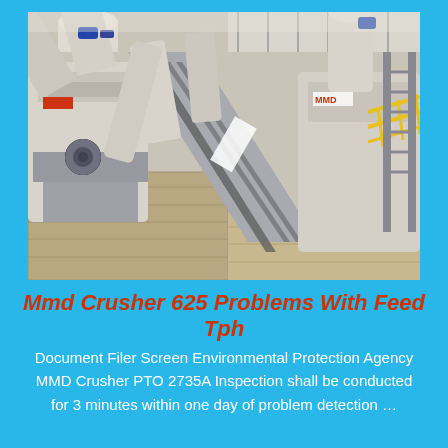[Figure (photo): Aerial/overhead view of industrial MMD crusher machinery facility showing large white cylindrical pipes, conveyor belts, and yellow safety railings inside a warehouse/industrial building]
Mmd Crusher 625 Problems With Feed Tph
Document Filer Screen Environmental Protection Agency MMD Crusher PTO 2735A Inspection shall be conducted for 3 minutes within one day of problem detection …